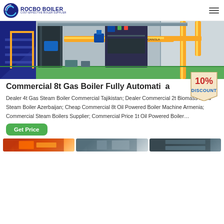[Figure (logo): Rocbo Boiler logo with globe/crescent icon and text 'ROCBO BOILER - COST-EFFECTIVE BOILER SUPPLIER']
[Figure (photo): Industrial boiler equipment in a factory setting with blue machinery, yellow pipes, and green floor]
Commercial 8t Gas Boiler Fully Automatic
[Figure (infographic): 10% DISCOUNT badge in red and yellow on beige tag background]
Dealer 4t Gas Steam Boiler Commercial Tajikistan; Dealer Commercial 2t Biomass Fired Steam Boiler Azerbaijan; Cheap Commercial 8t Oil Powered Boiler Machine Armenia; Commercial Steam Boilers Supplier; Commercial Price 1t Oil Powered Boiler…
[Figure (photo): Get Price green button]
[Figure (photo): Three thumbnail images of boiler products at the bottom of the page]